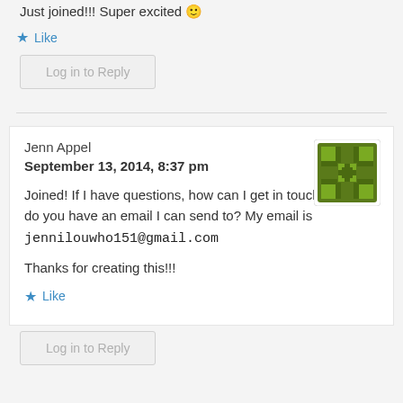Just joined!!! Super excited 🙂
★ Like
Log in to Reply
Jenn Appel
September 13, 2014, 8:37 pm
Joined! If I have questions, how can I get in touch with you, do you have an email I can send to? My email is jennilouwho151@gmail.com
Thanks for creating this!!!
★ Like
Log in to Reply